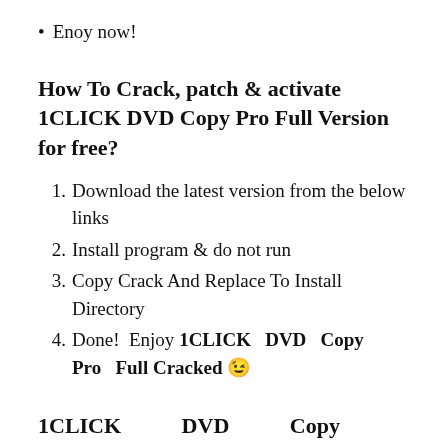Enoy now!
How To Crack, patch & activate 1CLICK DVD Copy Pro Full Version for free?
Download the latest version from the below links
Install program & do not run
Copy Crack And Replace To Install Directory
Done!  Enjoy 1CLICK DVD Copy Pro Full Cracked 😉
1CLICK DVD Copy Pro 6.2.2.3 Activation Key